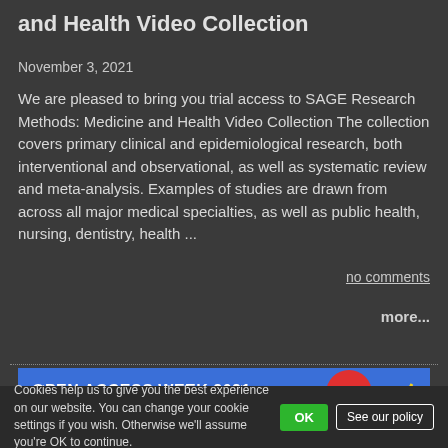and Health Video Collection
November 3, 2021
We are pleased to bring you trial access to SAGE Research Methods: Medicine and Health Video Collection The collection covers primary clinical and epidemiological research, both interventional and observational, as well as systematic review and meta-analysis. Examples of studies are drawn from across all major medical specialties, as well as public health, nursing, dentistry, health ...
no comments
more...
[Figure (illustration): Banner image for Open Access Week 2021 on blue background with red circle and yellow zigzag decoration, text reads OPEN ACCESS WEEK 2021 and partially visible MatMore How We Open Knowledge]
Cookies help us to give you the best experience on our website. You can change your cookie settings if you wish. Otherwise we'll assume you're OK to continue.